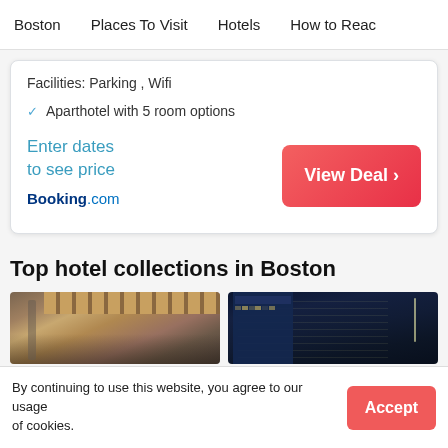Boston   Places To Visit   Hotels   How to Reach
Facilities: Parking , Wifi
✓ Aparthotel with 5 room options
Enter dates to see price
Booking.com
Top hotel collections in Boston
[Figure (photo): Interior lobby photo with wooden ceiling]
[Figure (photo): Night-time hotel building exterior with street lights]
By continuing to use this website, you agree to our usage of cookies.